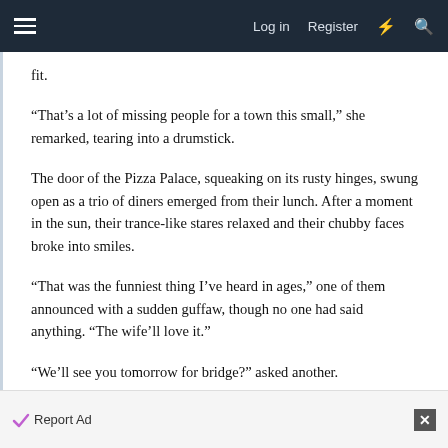Log in  Register
fit.
“That’s a lot of missing people for a town this small,” she remarked, tearing into a drumstick.
The door of the Pizza Palace, squeaking on its rusty hinges, swung open as a trio of diners emerged from their lunch. After a moment in the sun, their trance-like stares relaxed and their chubby faces broke into smiles.
“That was the funniest thing I’ve heard in ages,” one of them announced with a sudden guffaw, though no one had said anything. “The wife’ll love it.”
“We’ll see you tomorrow for bridge?” asked another.
Report Ad